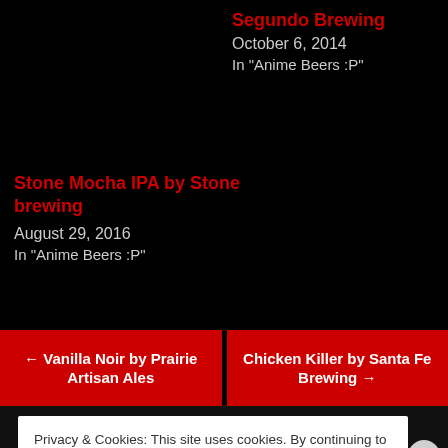Segundo Brewing
October 6, 2014
In "Anime Beers :P"
Stone Mocha IPA by Stone brewing
August 29, 2016
In "Anime Beers :P"
← Vanilla Noir by Prairie Artisan Ales
Chicken Killer by Santa Fe Brewing →
Privacy & Cookies: This site uses cookies. By continuing to use this website, you agree to their use.
To find out more, including how to control cookies, see here: Cookie Policy
Close and accept